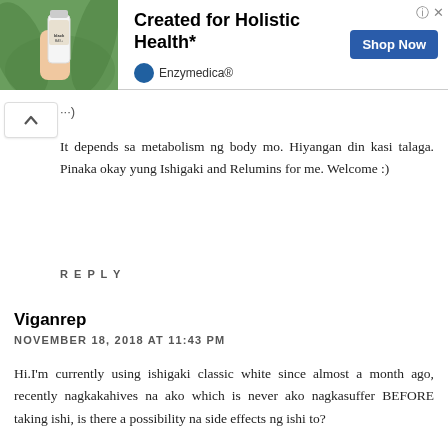[Figure (infographic): Advertisement banner for Enzymedica showing a hand holding a supplement bottle against a green plant background, with headline 'Created for Holistic Health*', a 'Shop Now' button, and the Enzymedica brand name with logo.]
It depends sa metabolism ng body mo. Hiyangan din kasi talaga. Pinaka okay yung Ishigaki and Relumins for me. Welcome :)
REPLY
Viganrep
NOVEMBER 18, 2018 AT 11:43 PM
Hi.I'm currently using ishigaki classic white since almost a month ago, recently nagkakahives na ako which is never ako nagkasuffer BEFORE taking ishi, is there a possibility na side effects ng ishi to?
REPLY